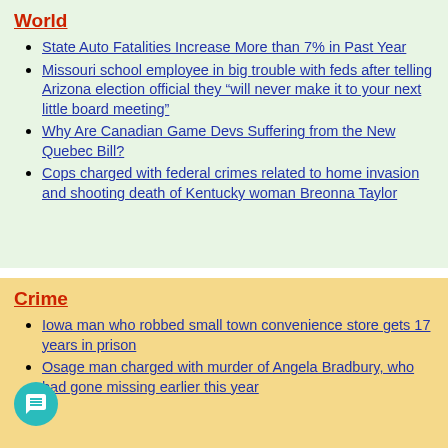World
State Auto Fatalities Increase More than 7% in Past Year
Missouri school employee in big trouble with feds after telling Arizona election official they “will never make it to your next little board meeting”
Why Are Canadian Game Devs Suffering from the New Quebec Bill?
Cops charged with federal crimes related to home invasion and shooting death of Kentucky woman Breonna Taylor
Crime
Iowa man who robbed small town convenience store gets 17 years in prison
Osage man charged with murder of Angela Bradbury, who had gone missing earlier this year